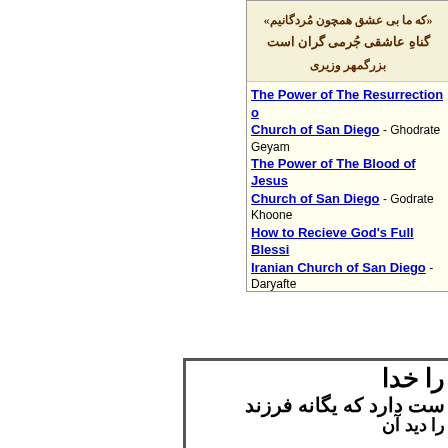[Figure (screenshot): Top panel with Persian/Farsi text on yellowish background: lines of Persian poetry/text in dark brown color, followed by a links section with English hyperlinks to Iranian Church resources, on a light yellow background.]
[Figure (screenshot): Bottom panel with large Persian/Farsi text in black on white background, bordered by a dark frame. Appears to be a Bible verse in Farsi.]